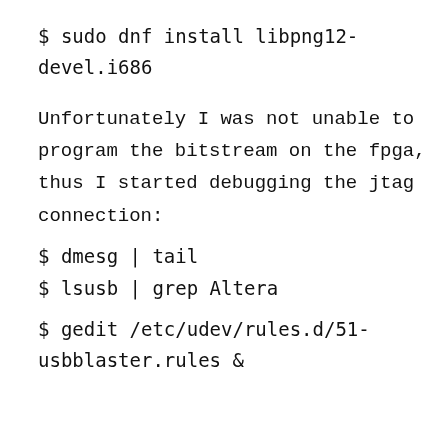$ sudo dnf install libpng12-devel.i686
Unfortunately I was not unable to program the bitstream on the fpga, thus I started debugging the jtag connection:
$ dmesg | tail
$ lsusb | grep Altera
$ gedit /etc/udev/rules.d/51-usbblaster.rules &